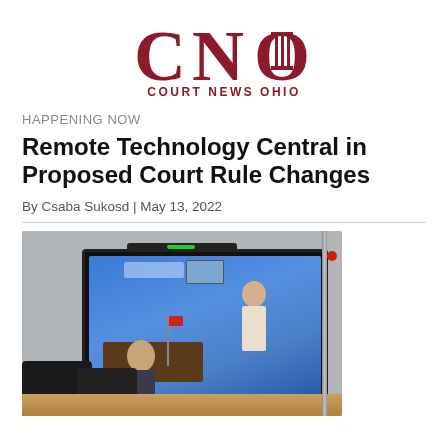[Figure (logo): Court News Ohio (CNO) logo with large CNO letters and a pillar/column icon inside the O, in dark red/maroon color, with 'COURT NEWS OHIO' text beneath]
HAPPENING NOW
Remote Technology Central in Proposed Court Rule Changes
By Csaba Sukosd | May 13, 2022
[Figure (photo): Photo of a courtroom with a large TV monitor on a stand showing a video conference with a person seated at a judge's bench and another person standing, with black chairs in the foreground and a wooden desk/bar. A sound bar is mounted above the screen and a red indicator light is visible on the pole.]